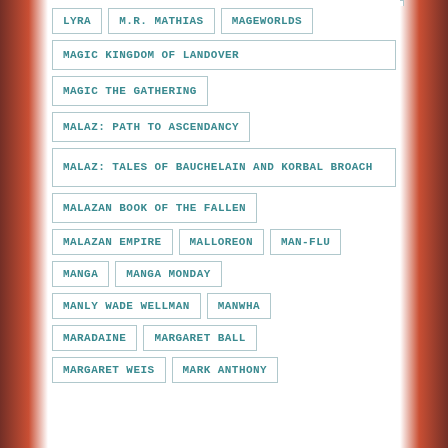LYRA
M.R. MATHIAS
MAGEWORLDS
MAGIC KINGDOM OF LANDOVER
MAGIC THE GATHERING
MALAZ: PATH TO ASCENDANCY
MALAZ: TALES OF BAUCHELAIN AND KORBAL BROACH
MALAZAN BOOK OF THE FALLEN
MALAZAN EMPIRE
MALLOREON
MAN-FLU
MANGA
MANGA MONDAY
MANLY WADE WELLMAN
MANWHA
MARADAINE
MARGARET BALL
MARGARET WEIS
MARK ANTHONY